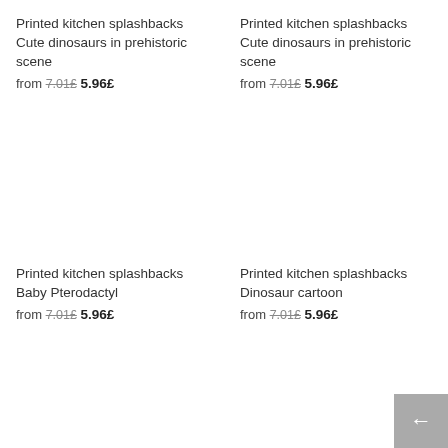Printed kitchen splashbacks Cute dinosaurs in prehistoric scene
from 7.01£ 5.96£
Printed kitchen splashbacks Cute dinosaurs in prehistoric scene
from 7.01£ 5.96£
Printed kitchen splashbacks Baby Pterodactyl
from 7.01£ 5.96£
Printed kitchen splashbacks Dinosaur cartoon
from 7.01£ 5.96£